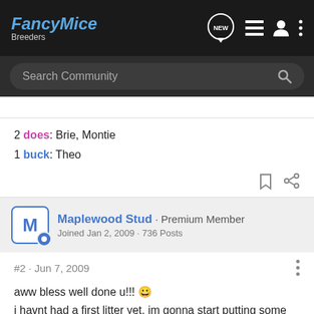FancyMice Breeders
Search Community
2 does: Brie, Montie
1 buck: Theo
Maplewood Stud · Premium Member
Joined Jan 2, 2009 · 736 Posts
#2 · Jun 7, 2009
aww bless well done u!!! 😀
i havnt had a first litter yet, im gonna start putting some "couples" toegther in the next week or so, but i just know ill be